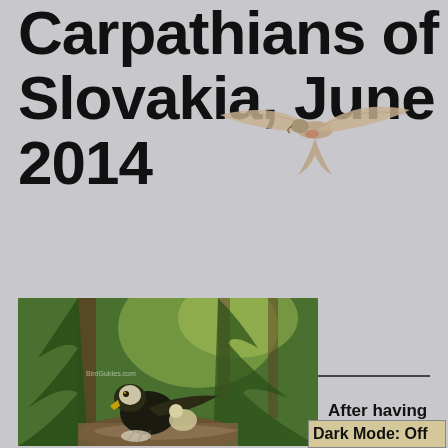Carpathians of Slovakia, June 2014
[Figure (photo): A bird of prey (raptor) in flight, wings spread wide, photographed against a light grey background]
[Figure (photo): A large bird of prey (likely an eagle or hawk) on a forest floor nest with a chick, surrounded by dense conifer forest with green light filtering through the trees]
After having
Dark Mode: Off